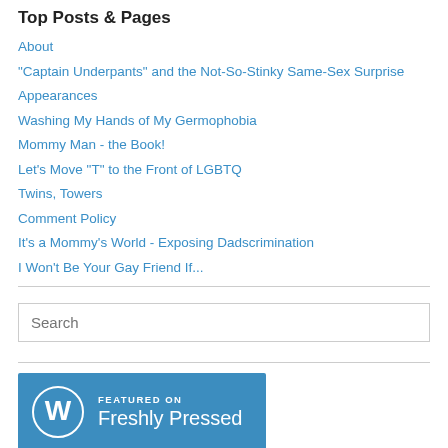Top Posts & Pages
About
"Captain Underpants" and the Not-So-Stinky Same-Sex Surprise
Appearances
Washing My Hands of My Germophobia
Mommy Man - the Book!
Let's Move "T" to the Front of LGBTQ
Twins, Towers
Comment Policy
It's a Mommy's World - Exposing Dadscrimination
I Won't Be Your Gay Friend If...
[Figure (other): Search input box with placeholder text 'Search']
[Figure (other): Featured on Freshly Pressed badge with WordPress logo]